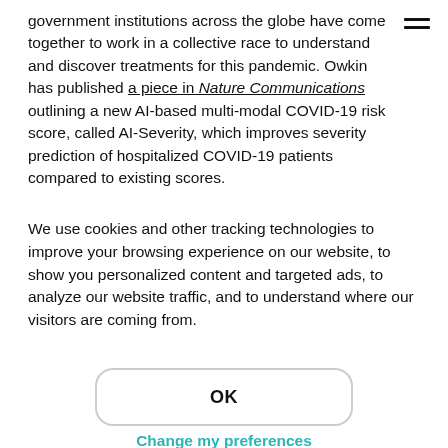government institutions across the globe have come together to work in a collective race to understand and discover treatments for this pandemic. Owkin has published a piece in Nature Communications outlining a new AI-based multi-modal COVID-19 risk score, called AI-Severity, which improves severity prediction of hospitalized COVID-19 patients compared to existing scores.
We use cookies and other tracking technologies to improve your browsing experience on our website, to show you personalized content and targeted ads, to analyze our website traffic, and to understand where our visitors are coming from.
OK
Change my preferences